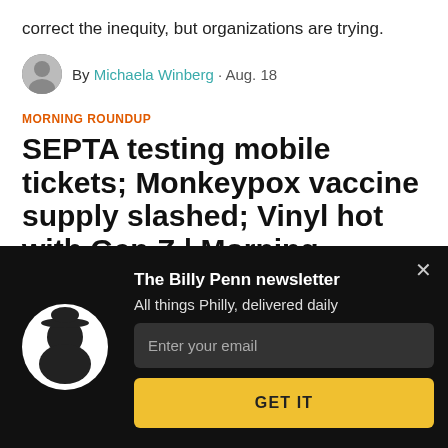correct the inequity, but organizations are trying.
By Michaela Winberg · Aug. 18
MORNING ROUNDUP
SEPTA testing mobile tickets; Monkeypox vaccine supply slashed; Vinyl hot with Gen Z | Morning roundup
Beer made from pretzels 🥨
[Figure (other): Billy Penn newsletter signup overlay with logo, email input field, and GET IT button on dark background]
The Billy Penn newsletter
All things Philly, delivered daily
Enter your email
GET IT